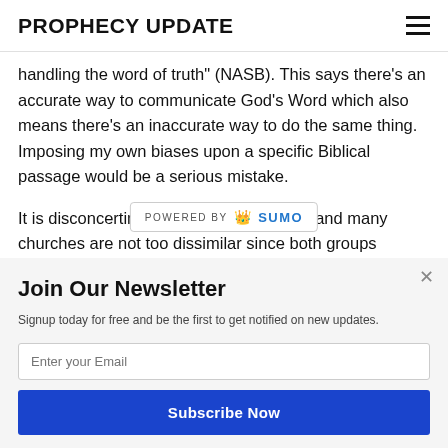PROPHECY UPDATE
handling the word of truth" (NASB). This says there's an accurate way to communicate God's Word which also means there's an inaccurate way to do the same thing. Imposing my own biases upon a specific Biblical passage would be a serious mistake.
It is disconcerting that the habits of cults and many churches are not too dissimilar since both groups
[Figure (logo): POWERED BY SUMO banner with crown logo]
Join Our Newsletter
Signup today for free and be the first to get notified on new updates.
Enter your Email
Subscribe Now